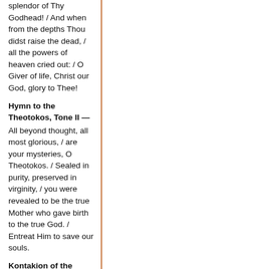splendor of Thy Godhead! / And when from the depths Thou didst raise the dead, / all the powers of heaven cried out: / O Giver of life, Christ our God, glory to Thee!
Hymn to the Theotokos, Tone II —
All beyond thought, all most glorious, / are your mysteries, O Theotokos. / Sealed in purity, preserved in virginity, / you were revealed to be the true Mother who gave birth to the true God. / Entreat Him to save our souls.
Kontakion of the Sunday, Tone II —
Hell became afraid, O Almighty Savior, / seeing the miracle of Thy Resurrection from the tomb! / The dead arose! Creation, with Adam, beheld this and rejoiced with Thee! / And the world, O my Savior, praises Thee forever.